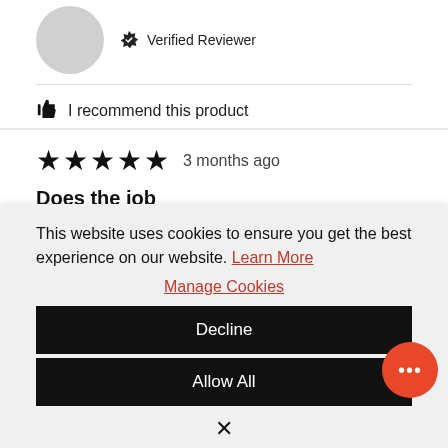[Figure (other): User avatar circle (grey) and Verified Reviewer badge with checkmark icon]
I recommend this product
★★★★★ 3 months ago
Does the job
Does the job!
This website uses cookies to ensure you get the best experience on our website. Learn More
Manage Cookies
Decline
Allow All
✕